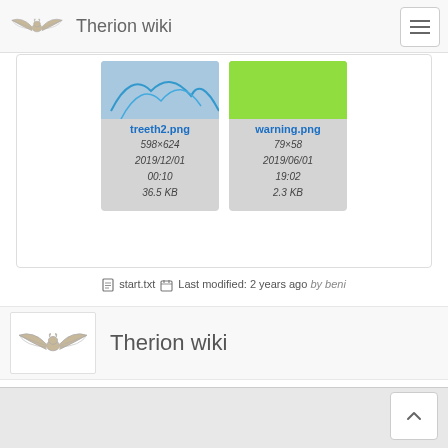Therion wiki
[Figure (screenshot): File gallery showing two PNG file thumbnails: treeth2.png (598×624, 2019/12/01 00:10, 36.5 KB) and warning.png (79×58, 2019/06/01 19:02, 2.3 KB)]
start.txt  Last modified: 2 years ago  by beni
[Figure (logo): Therion wiki logo with bat illustration]
Therion wiki